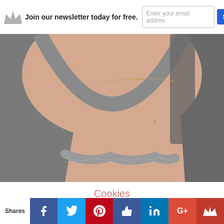Join our newsletter today for free. | Enter your email addres | Subscribe Now
[Figure (photo): Close-up photo of a person's neckline wearing a grey scoop-neck top, with a delicate gold bar necklace visible]
Cookies
This website uses cookies to improve your experience. We'll assume you're ok with this, but you can opt-out if you wish.
Shares | f | Twitter | Pinterest | Thumbs up | in | G+ | Crown